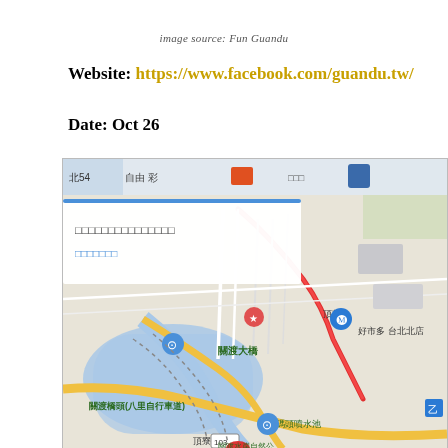image source: Fun Guandu
Website: https://www.facebook.com/guandu.tw/
Date: Oct 26
[Figure (map): Google Maps screenshot showing Guandu area in Taipei, Taiwan with Chinese text labels including 關渡大橋, 關渡橋頭(八里自行車道), 關渡碼頭噴水池, 頂茄, 好市多台北北店, and other landmarks. A search popup overlay shows text in Chinese characters.]